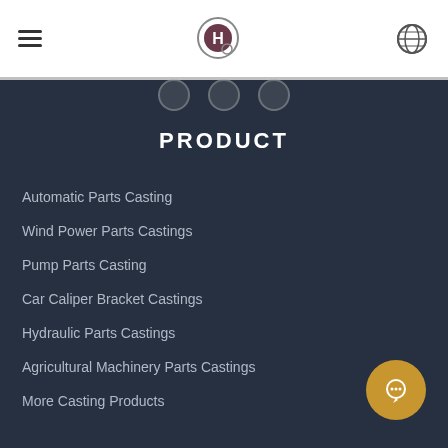[Figure (logo): Company logo with H symbol and globe icon in header navigation bar]
PRODUCT
Automatic Parts Casting
Wind Power Parts Castings
Pump Parts Casting
Car Caliper Bracket Castings
Hydraulic Parts Castings
Agricultural Machinery Parts Castings
More Casting Products